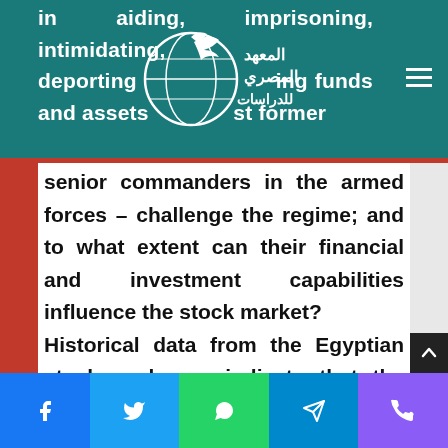in aiding, imprisoning, intimidating, deporting ... freezing funds and assets ... against former senior commanders in the armed forces – challenge the regime; and to what extent can their financial and investment capabilities influence the stock market?
[Figure (logo): Al-Masry Al-Youm Institute for Studies logo with globe and bird motif, Arabic text]
senior commanders in the armed forces – challenge the regime; and to what extent can their financial and investment capabilities influence the stock market? Historical data from the Egyptian stock exchange indicate that the bleeding did not begin last week but was over five months, during which the arrested persons were at large
Social sharing bar: Facebook, Twitter, WhatsApp, Telegram, Viber